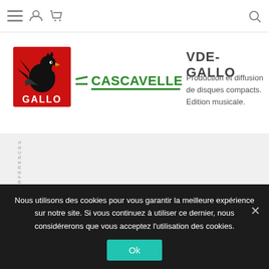Navigation bar with menu, user, cart, and search icons
[Figure (logo): GALLO red square logo with rooster illustration and GALLO text]
[Figure (logo): CASCAVELLE green logo with speed-lines and text]
VDE-GALLO
Production et diffusion de disques compacts. Edition musicale.
[Figure (other): Gray section with vertical text reading INTERFERENCES]
Nous utilisons des cookies pour vous garantir la meilleure expérience sur notre site. Si vous continuez à utiliser ce dernier, nous considérerons que vous acceptez l'utilisation des cookies.